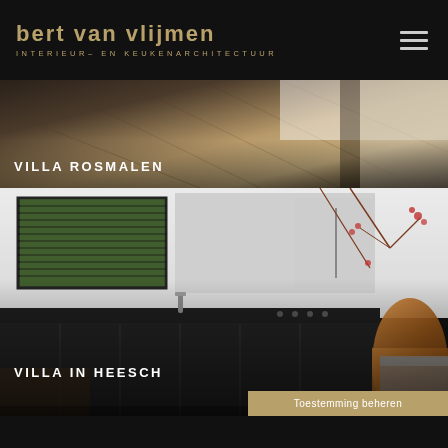BERT VAN VLIJMEN INTERIEUR- EN KEUKENARCHITECTUUR
[Figure (photo): Interior photo showing wooden floor and staircase detail for Villa Rosmalen project]
VILLA ROSMALEN
[Figure (photo): Modern black kitchen interior with window blinds, dark cabinetry, faucet, and amber glass vase with decorative branches for Villa in Heesch project]
VILLA IN HEESCH
Toestemming beheren